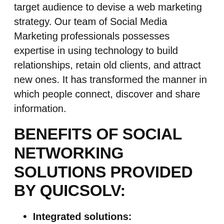target audience to devise a web marketing strategy. Our team of Social Media Marketing professionals possesses expertise in using technology to build relationships, retain old clients, and attract new ones. It has transformed the manner in which people connect, discover and share information.
BENEFITS OF SOCIAL NETWORKING SOLUTIONS PROVIDED BY QUICSOLV:
Integrated solutions: At QuicSolv, we hold proficiency as well as experience in promoting better relationships and communication between organizations and clients. We offer agile, innovative and multi-platform social media solutions integrated